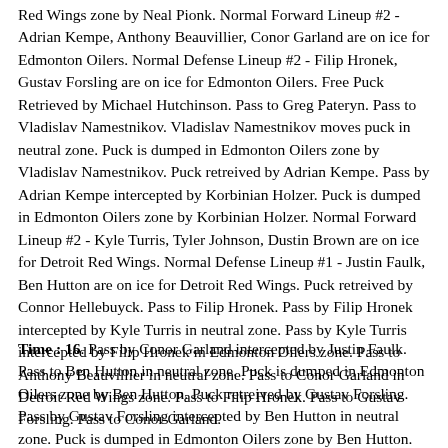Red Wings zone by Neal Pionk. Normal Forward Lineup #2 - Adrian Kempe, Anthony Beauvillier, Conor Garland are on ice for Edmonton Oilers. Normal Defense Lineup #2 - Filip Hronek, Gustav Forsling are on ice for Edmonton Oilers. Free Puck Retrieved by Michael Hutchinson. Pass to Greg Pateryn. Pass to Vladislav Namestnikov. Vladislav Namestnikov moves puck in neutral zone. Puck is dumped in Edmonton Oilers zone by Vladislav Namestnikov. Puck retreived by Adrian Kempe. Pass by Adrian Kempe intercepted by Korbinian Holzer. Puck is dumped in Edmonton Oilers zone by Korbinian Holzer. Normal Forward Lineup #2 - Kyle Turris, Tyler Johnson, Dustin Brown are on ice for Detroit Red Wings. Normal Defense Lineup #1 - Justin Faulk, Ben Hutton are on ice for Detroit Red Wings. Puck retreived by Connor Hellebuyck. Pass to Filip Hronek. Pass by Filip Hronek intercepted by Kyle Turris in neutral zone. Pass by Kyle Turris intercepted by Filip Hronek in Edmonton Oilers zone. Pass to Anthony Beauvillier in neutral zone. Pass to Conor Garland in Detroit Red Wings zone. Pass to Filip Hronek. Pass to Gustav Forsling. Pass to Conor Garland.
Time : 16. Pass by Conor Garland intercepted by Justin Faulk. Pass to Ben Hutton in neutral zone. Puck is dumped in Edmonton Oilers zone by Ben Hutton. Puck retreived by Gustav Forsling. Pass by Gustav Forsling intercepted by Ben Hutton in neutral zone. Puck is dumped in Edmonton Oilers zone by Ben Hutton. Puck